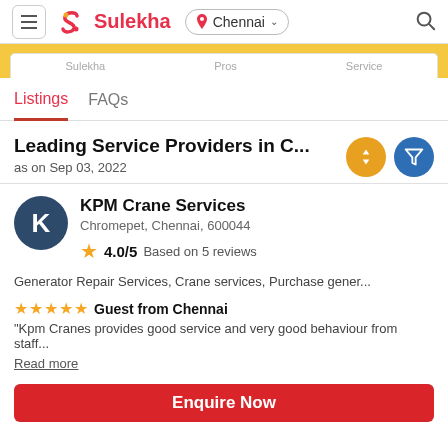Sulekha — Chennai — Search
Sulekha | Pros | Service
Listings | FAQs
Leading Service Providers in C...
as on Sep 03, 2022
KPM Crane Services
Chromepet, Chennai, 600044
4.0/5  Based on 5 reviews
Generator Repair Services, Crane services, Purchase gener...
Guest from Chennai
"Kpm Cranes provides good service and very good behaviour from staff...
Read more
Enquire Now